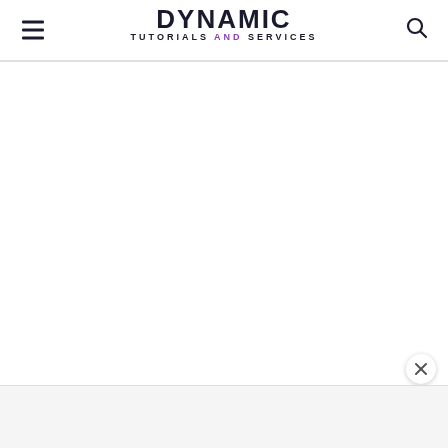DYNAMIC TUTORIALS AND SERVICES
[Figure (screenshot): Main content area, blank white space]
[Figure (other): Close/dismiss button (×) at lower right]
[Figure (other): Ad banner at bottom of page, light gray background]